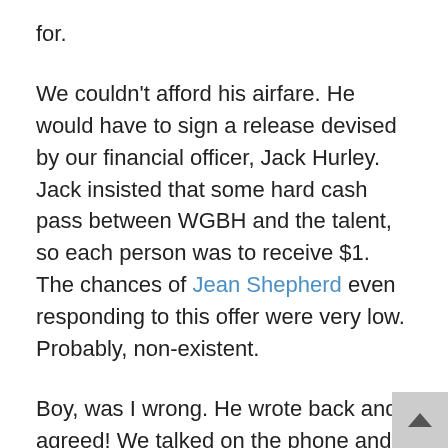for.
We couldn't afford his airfare. He would have to sign a release devised by our financial officer, Jack Hurley. Jack insisted that some hard cash pass between WGBH and the talent, so each person was to receive $1. The chances of Jean Shepherd even responding to this offer were very low. Probably, non-existent.
Boy, was I wrong. He wrote back and agreed! We talked on the phone and decided on a date. Now I had to tell management that I had made this offer and it had been accepted. (No, I never did get permission before I sent the letter.